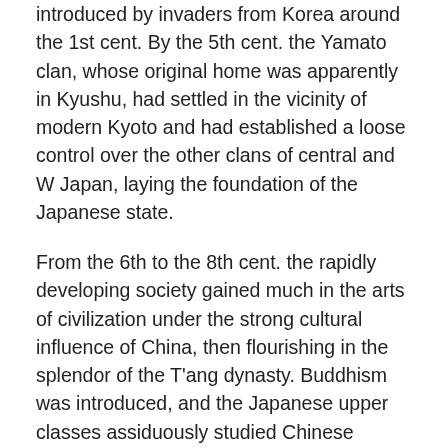introduced by invaders from Korea around the 1st cent. By the 5th cent. the Yamato clan, whose original home was apparently in Kyushu, had settled in the vicinity of modern Kyoto and had established a loose control over the other clans of central and W Japan, laying the foundation of the Japanese state.
From the 6th to the 8th cent. the rapidly developing society gained much in the arts of civilization under the strong cultural influence of China, then flourishing in the splendor of the T'ang dynasty. Buddhism was introduced, and the Japanese upper classes assiduously studied Chinese language, literature, philosophy, art, science, and government, creating their own forms adapted from Chinese models. A partially successful attempt was made to set up a centralized, bureaucratic government like that of imperial China. The Yamato priest-chief assumed the dignity of an emperor, and an imposing capital city, modeled on the T'ang capital, was erected at Nara, to be succeeded by an equally imposing capital at Kyoto.